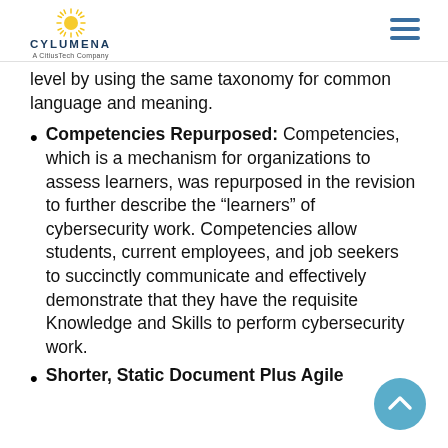CyLumena A CitiusTech Company
level by using the same taxonomy for common language and meaning.
Competencies Repurposed: Competencies, which is a mechanism for organizations to assess learners, was repurposed in the revision to further describe the “learners” of cybersecurity work. Competencies allow students, current employees, and job seekers to succinctly communicate and effectively demonstrate that they have the requisite Knowledge and Skills to perform cybersecurity work.
Shorter, Static Document Plus Agile